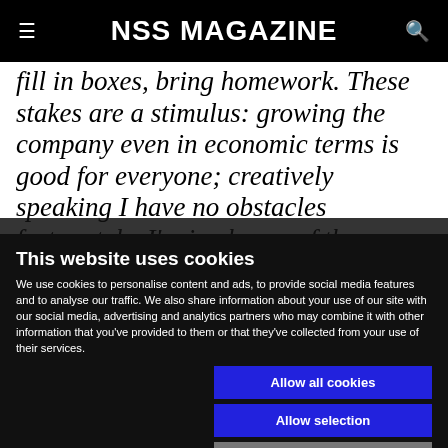NSS MAGAZINE
fill in boxes, bring homework. These stakes are a stimulus: growing the company even in economic terms is good for everyone; creatively speaking I have no obstacles fortunately. I'm in charge of the brand». More than evolution, however, it would be
This website uses cookies
We use cookies to personalise content and ads, to provide social media features and to analyse our traffic. We also share information about your use of our site with our social media, advertising and analytics partners who may combine it with other information that you've provided to them or that they've collected from your use of their services.
Allow all cookies
Allow selection
Use necessary cookies only
Necessary
Preferences
Statistics
Marketing
Show details